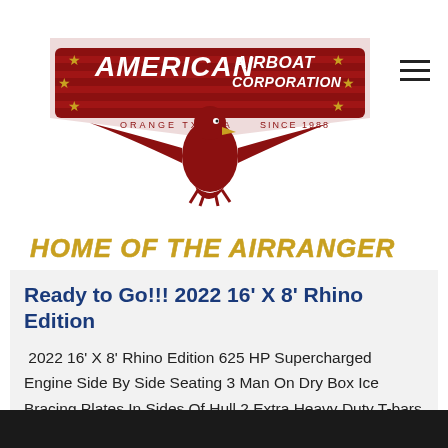[Figure (logo): American Airboat Corporation logo with eagle and red banner, stars on sides, text 'ORANGE TX USA' and 'SINCE 1988']
HOME OF THE AIRRANGER
Ready to Go!!! 2022 16' X 8' Rhino Edition
2022 16' X 8' Rhino Edition 625 HP Supercharged Engine Side By Side Seating 3 Man On Dry Box Ice Bracing Plates In Sides Of Hull 2 Extra Heavy Duty T-bars OD Green Paint With Black Non-Skid Observation Platform On Cage 3 Blade Propeller Boat: $85,705.00 plus T, T, & L Trailer: $6,295.00 plus T,...